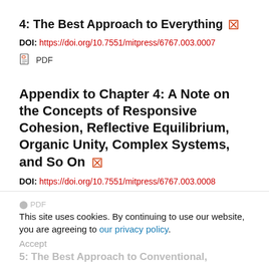4: The Best Approach to Everything
DOI: https://doi.org/10.7551/mitpress/6767.003.0007
PDF
Appendix to Chapter 4: A Note on the Concepts of Responsive Cohesion, Reflective Equilibrium, Organic Unity, Complex Systems, and So On
DOI: https://doi.org/10.7551/mitpress/6767.003.0008
This site uses cookies. By continuing to use our website, you are agreeing to our privacy policy. Accept
5: The Best Approach to Conventional,